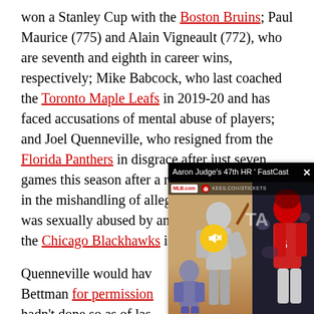won a Stanley Cup with the Boston Bruins; Paul Maurice (775) and Alain Vigneault (772), who are seventh and eighth in career wins, respectively; Mike Babcock, who last coached the Toronto Maple Leafs in 2019-20 and has faced accusations of mental abuse of players; and Joel Quenneville, who resigned from the Florida Panthers in disgrace after just seven games this season after a report detailed his role in the mishandling of allegations that a player was sexually abused by an assistant coach with the Chicago Blackhawks in 2010.
[Figure (screenshot): Video overlay popup showing 'Aaron Judge's 47th HR | FastCast' with MLB.com branding, a close button (×), a mute button, and baseball game imagery showing a Yankees batter and a Cardinals player.]
Quenneville would have to apply to commissioner Gary Bettman for permission to coach again and reportedly hadn't done so as of last week.
This article was originally published on ... original article here.